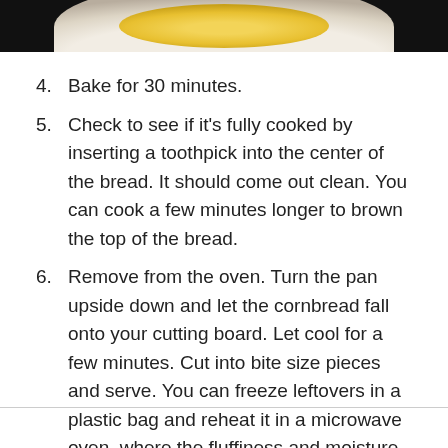[Figure (photo): Cropped bottom portion of a white bowl containing what appears to be a yellow batter or cornbread, photographed from above on a dark background.]
4. Bake for 30 minutes.
5. Check to see if it's fully cooked by inserting a toothpick into the center of the bread. It should come out clean. You can cook a few minutes longer to brown the top of the bread.
6. Remove from the oven. Turn the pan upside down and let the cornbread fall onto your cutting board. Let cool for a few minutes. Cut into bite size pieces and serve. You can freeze leftovers in a plastic bag and reheat it in a microwave oven, where the fluffiness and moisture will be revived.